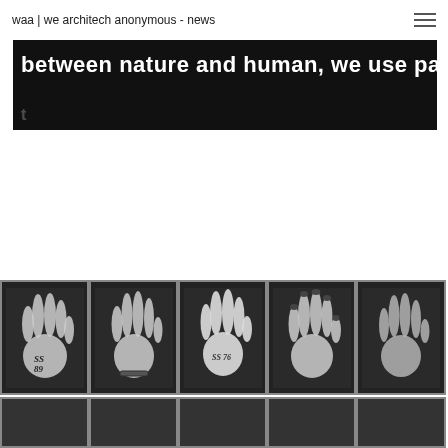waa | we architech anonymous - news
[Figure (photo): Dark banner image with white bold text reading 'between nature and human, we use parametric' and partially visible text below]
[Figure (photo): Row of five black-and-white photographs of open human hands/palms, some with handwritten labels like 'SS 89' and 'SS 76', arranged horizontally]
[Figure (photo): Partial row of additional hand photographs at the bottom edge of the page]